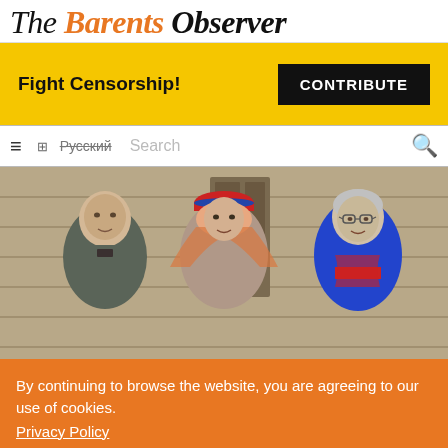The Barents Observer
Fight Censorship!
CONTRIBUTE
≡  ⊞  Русский  Search
[Figure (photo): Three people in traditional Slavic/Sami costumes standing in front of a wooden building. Left: a man in a grey embroidered shirt. Center: a woman wearing a colorful floral headscarf and red decorated kokoshnik. Right: an older man with glasses in a blue and red Sami costume.]
By continuing to browse the website, you are agreeing to our use of cookies. Privacy Policy
OK